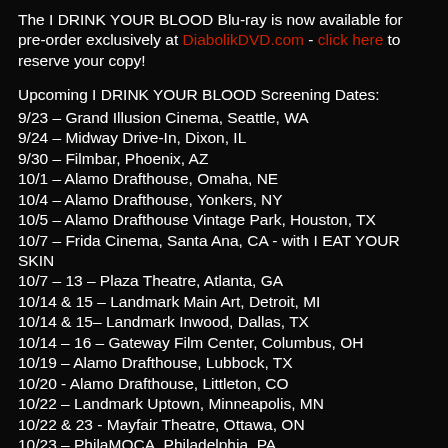The I DRINK YOUR BLOOD Blu-ray is now available for pre-order exclusively at DiabolikDVD.com - click here to reserve your copy!
Upcoming I DRINK YOUR BLOOD Screening Dates:
9/23 – Grand Illusion Cinema, Seattle, WA
9/24 – Midway Drive-In, Dixon, IL
9/30 – Filmbar, Phoenix, AZ
10/1 – Alamo Drafthouse, Omaha, NE
10/4 – Alamo Drafthouse, Yonkers, NY
10/5 – Alamo Drafthouse Vintage Park, Houston, TX
10/7 – Frida Cinema, Santa Ana, CA - with I EAT YOUR SKIN
10/7 – 13 – Plaza Theatre, Atlanta, GA
10/14 & 15 – Landmark Main Art, Detroit, MI
10/14 & 15– Landmark Inwood, Dallas, TX
10/14 – 16 – Gateway Film Center, Columbus, OH
10/19 – Alamo Drafthouse, Lubbock, TX
10/20 - Alamo Drafthouse, Littleton, CO
10/22 – Landmark Uptown, Minneapolis, MN
10/22 & 23 - Mayfair Theatre, Ottawa, ON
10/23 – PhilaMOCA, Philadelphia, PA